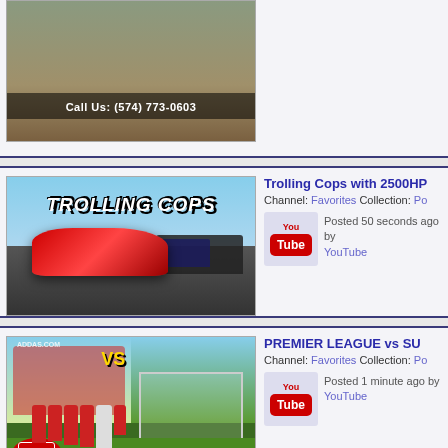[Figure (screenshot): Partial top card showing a real estate video thumbnail with 'Call Us: (574) 773-0603' text]
[Figure (screenshot): Trolling Cops with 2500HP video thumbnail showing a red sports car being chased by police]
Trolling Cops with 2500HP
Channel: Favorites Collection: Pop
Posted 50 seconds ago by YouTube
[Figure (screenshot): PREMIER LEAGUE vs SU... video thumbnail showing Arsenal fans vs a family with a dog]
PREMIER LEAGUE vs SU
Channel: Favorites Collection: Pop
Posted 1 minute ago by YouTube
[Figure (screenshot): House of the Dragon S1E0 partial thumbnail visible at bottom]
House of the Dragon S1E0
Channel: Favorites Collection: Pop